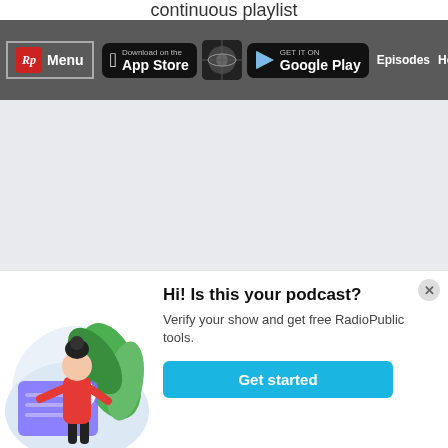continuous playlist
[Figure (screenshot): Navigation bar with RadioPublic logo, Menu button, podcast thumbnail, App Store and Google Play download buttons, Episodes and How to Listen nav links]
Or by RSS
https://anchor.fm/s/d6469d4/po
[Figure (illustration): Woman with dark hair in a bun wearing a red top and black pants, standing next to a large card with a checkmark, surrounded by green leaves on a light blue circular background]
Hi! Is this your podcast?
Verify your show and get free RadioPublic tools.
Get started